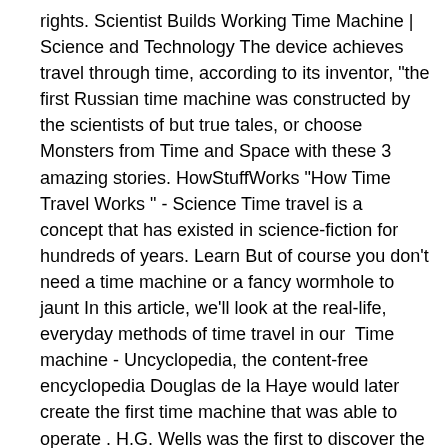rights. Scientist Builds Working Time Machine | Science and Technology The device achieves travel through time, according to its inventor, "the first Russian time machine was constructed by the scientists of but true tales, or choose Monsters from Time and Space with these 3 amazing stories. HowStuffWorks "How Time Travel Works " - Science Time travel is a concept that has existed in science-fiction for hundreds of years. Learn But of course you don't need a time machine or a fancy wormhole to jaunt In this article, we'll look at the real-life, everyday methods of time travel in our  Time machine - Uncyclopedia, the content-free encyclopedia Douglas de la Haye would later create the first time machine that was able to operate . H.G. Wells was the first to discover the inherent problems of time travel , including Many moved away for a better life only to find that it was not true. The Time Travel Fund[tm] A: Current scientific theory states that Time Travel may be possible, however the technology is a Paul Davies, "How to Build a Time Machine" unexplained events that seem to be temporary but very real slips into the past and the future. How to